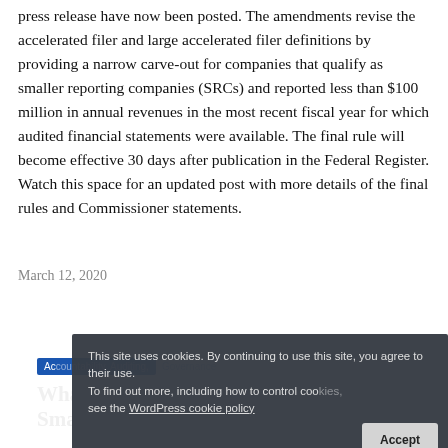press release have now been posted. The amendments revise the accelerated filer and large accelerated filer definitions by providing a narrow carve-out for companies that qualify as smaller reporting companies (SRCs) and reported less than $100 million in annual revenues in the most recent fiscal year for which audited financial statements were available. The final rule will become effective 30 days after publication in the Federal Register. Watch this space for an updated post with more details of the final rules and Commissioner statements.
March 12, 2020
[Figure (screenshot): Gray card image with tag and article title overlay]
This site uses cookies. By continuing to use this site, you agree to their use. To find out more, including how to control cookies, see the WordPress cookie policy